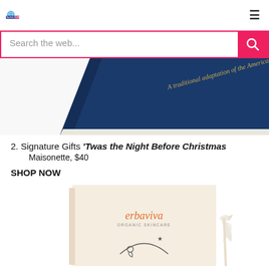[Figure (logo): NewYork 24 Live logo with globe icon]
[Figure (screenshot): Search bar with 'Search the web...' placeholder text and pink search button with magnifying glass icon]
[Figure (photo): Blue hardcover book with gold text 'A traditional adaptation of the American classic' — partial view of Signature Gifts 'Twas the Night Before Christmas]
2. Signature Gifts 'Twas the Night Before Christmas
Maisonette, $40
SHOP NOW
[Figure (photo): Erbaviva Organic Skincare gift box with moon and child illustration, with a white ribbon bow on the right side]